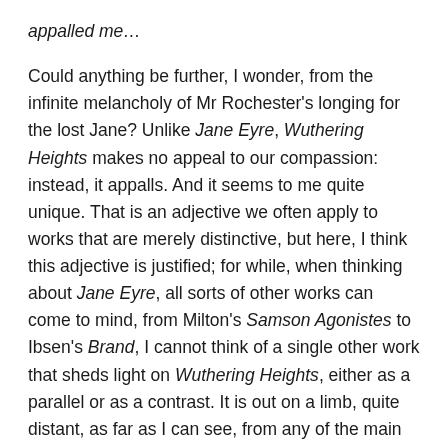appalled me…
Could anything be further, I wonder, from the infinite melancholy of Mr Rochester's longing for the lost Jane? Unlike Jane Eyre, Wuthering Heights makes no appeal to our compassion: instead, it appalls. And it seems to me quite unique. That is an adjective we often apply to works that are merely distinctive, but here, I think this adjective is justified; for while, when thinking about Jane Eyre, all sorts of other works can come to mind, from Milton's Samson Agonistes to Ibsen's Brand, I cannot think of a single other work that sheds light on Wuthering Heights, either as a parallel or as a contrast. It is out on a limb, quite distant, as far as I can see, from any of the main trunks of literary traditions. Yes, it appalls, but so extraordinarily vivid is the imagination, and so brilliant its unorthodox craftsmanship, it absorbed me.